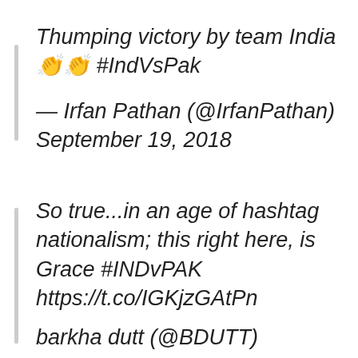Thumping victory by team India 👏👏 #IndVsPak
— Irfan Pathan (@IrfanPathan) September 19, 2018
So true...in an age of hashtag nationalism; this right here, is Grace #INDvPAK https://t.co/IGKjzGAtPn
barkha dutt (@BDUTT)